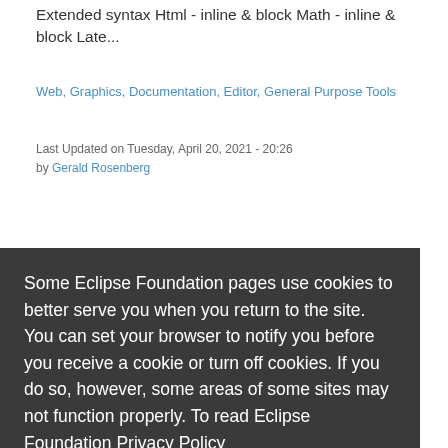Extended syntax Html - inline & block Math - inline & block Late...
Web, Graphics, Documentation, Editor, General Purpose Tools
Last Updated on Tuesday, April 20, 2021 - 20:26 by Gerald Rosenberg
Some Eclipse Foundation pages use cookies to better serve you when you return to the site. You can set your browser to notify you before you receive a cookie or turn off cookies. If you do so, however, some areas of some sites may not function properly. To read Eclipse Foundation Privacy Policy
click here.
Decline
Allow cookies